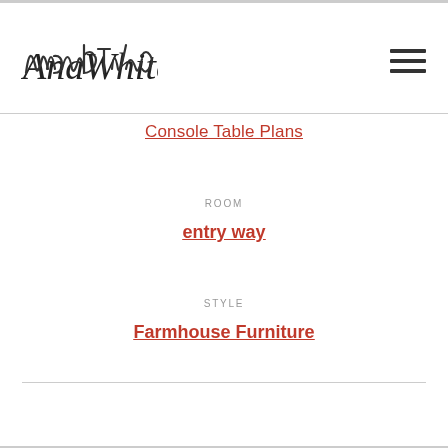AnaWhite [logo] [hamburger menu]
Console Table Plans
ROOM
entry way
STYLE
Farmhouse Furniture